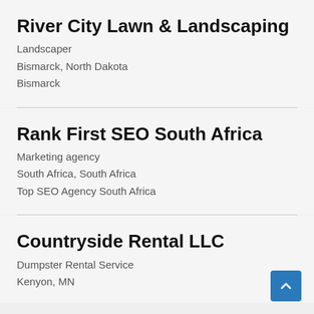River City Lawn & Landscaping
Landscaper
Bismarck, North Dakota
Bismarck
Rank First SEO South Africa
Marketing agency
South Africa, South Africa
Top SEO Agency South Africa
Countryside Rental LLC
Dumpster Rental Service
Kenyon, MN